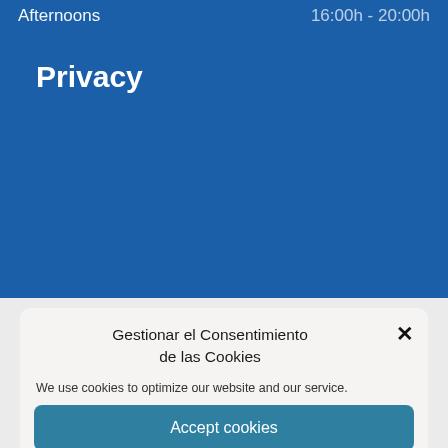Afternoons   16:00h - 20:00h
Privacy
Gestionar el Consentimiento de las Cookies
We use cookies to optimize our website and our service.
Accept cookies
Solo funcionales
See Preferences